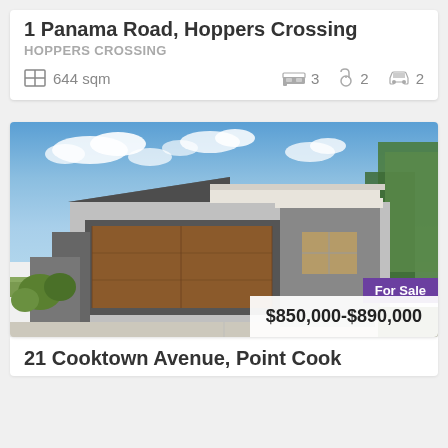1 Panama Road, Hoppers Crossing
HOPPERS CROSSING
644 sqm  3  2  2
[Figure (photo): Exterior photo of a modern single-storey house with dark grey render, brown double garage door, white eaves, driveway, garden, and blue sky with clouds. Badge: For Sale. Price: $850,000-$890,000]
21 Cooktown Avenue, Point Cook